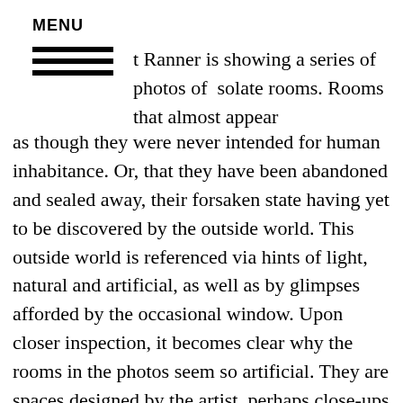MENU
t Ranner is showing a series of photos of solate rooms. Rooms that almost appear as though they were never intended for human inhabitance. Or, that they have been abandoned and sealed away, their forsaken state having yet to be discovered by the outside world. This outside world is referenced via hints of light, natural and artificial, as well as by glimpses afforded by the occasional window. Upon closer inspection, it becomes clear why the rooms in the photos seem so artificial. They are spaces designed by the artist, perhaps close-ups of miniature architectural models.